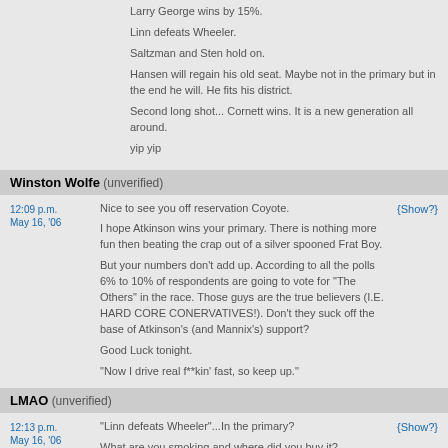Larry George wins by 15%.
Linn defeats Wheeler.
Saltzman and Sten hold on.
Hansen will regain his old seat. Maybe not in the primary but in the end he will. He fits his district.
Second long shot... Cornett wins. It is a new generation all around.
yip yip
Winston Wolfe (unverified)
12:09 p.m. May 16, '06 — Nice to see you off reservation Coyote. I hope Atkinson wins your primary. There is nothing more fun then beating the crap out of a silver spooned Frat Boy. But your numbers don't add up. According to all the polls 6% to 10% of respondents are going to vote for "The Others" in the race. Those guys are the true believers (I.E. HARD CORE CONERVATIVES!). Don't they suck off the base of Atkinson's (and Mannix's) support? Good Luck tonight. "Now I drive real f**kin' fast, so keep up."
LMAO (unverified)
12:13 p.m. May 16, '06 — "Linn defeats Wheeler"...In the primary? What are you smoking and where did you buy it?